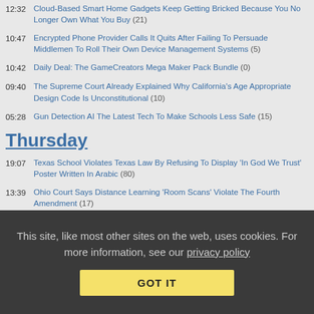12:32 Cloud-Based Smart Home Gadgets Keep Getting Bricked Because You No Longer Own What You Buy (21)
10:47 Encrypted Phone Provider Calls It Quits After Failing To Persuade Middlemen To Roll Their Own Device Management Systems (5)
10:42 Daily Deal: The GameCreators Mega Maker Pack Bundle (0)
09:40 The Supreme Court Already Explained Why California's Age Appropriate Design Code Is Unconstitutional (10)
05:28 Gun Detection AI The Latest Tech To Make Schools Less Safe (15)
Thursday
19:07 Texas School Violates Texas Law By Refusing To Display 'In God We Trust' Poster Written In Arabic (80)
13:39 Ohio Court Says Distance Learning 'Room Scans' Violate The Fourth Amendment (17)
12:11 Elon Musk Tries, Tries Again To Come Up With A Better Excuse To Get Out Of Buying Twitter (14)
This site, like most other sites on the web, uses cookies. For more information, see our privacy policy
GOT IT